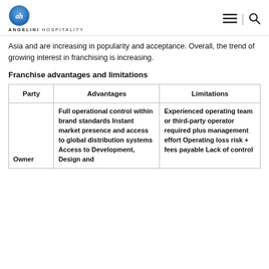Angelini Hospitality [logo with hamburger and search icons]
Asia and are increasing in popularity and acceptance. Overall, the trend of growing interest in franchising is increasing.
Franchise advantages and limitations
| Party | Advantages | Limitations |
| --- | --- | --- |
| Owner | Full operational control within brand standards Instant market presence and access to global distribution systems Access to Development, Design and | Experienced operating team or third-party operator required plus management effort Operating loss risk + fees payable Lack of control |